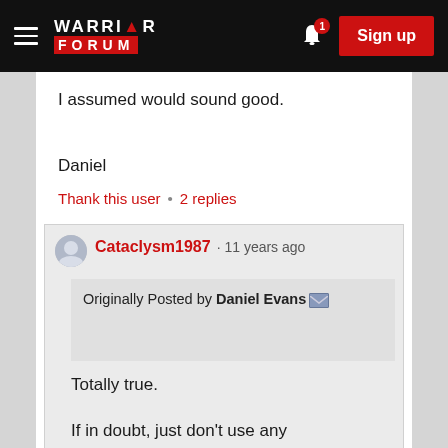WARRIOR FORUM | Sign up
I assumed would sound good.
Daniel
Thank this user  •  2 replies
Cataclysm1987 · 11 years ago
Originally Posted by Daniel Evans
Totally true.
If in doubt, just don't use any